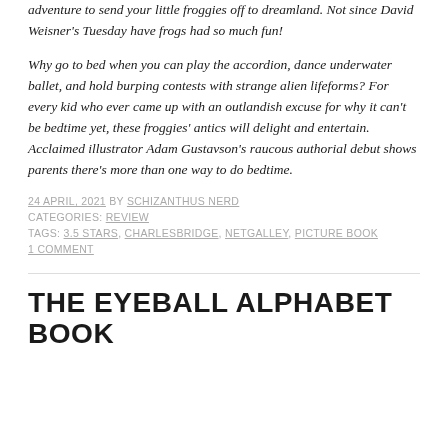adventure to send your little froggies off to dreamland. Not since David Weisner's Tuesday have frogs had so much fun!
Why go to bed when you can play the accordion, dance underwater ballet, and hold burping contests with strange alien lifeforms? For every kid who ever came up with an outlandish excuse for why it can't be bedtime yet, these froggies' antics will delight and entertain. Acclaimed illustrator Adam Gustavson's raucous authorial debut shows parents there's more than one way to do bedtime.
24 APRIL, 2021 BY SCHIZANTHUS NERD
CATEGORIES: REVIEW
TAGS: 3.5 STARS, CHARLESBRIDGE, NETGALLEY, PICTURE BOOK
1 COMMENT
THE EYEBALL ALPHABET BOOK